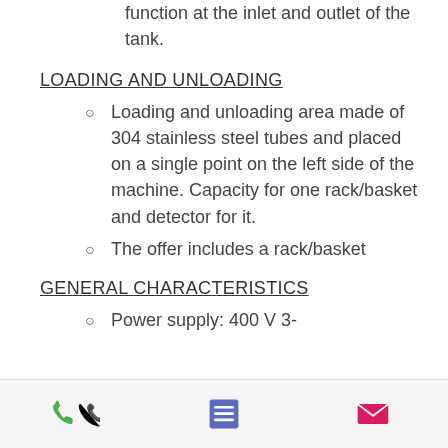function at the inlet and outlet of the tank.
LOADING AND UNLOADING
Loading and unloading area made of 304 stainless steel tubes and placed on a single point on the left side of the machine. Capacity for one rack/basket and detector for it.
The offer includes a rack/basket
GENERAL CHARACTERISTICS
Power supply: 400 V 3-